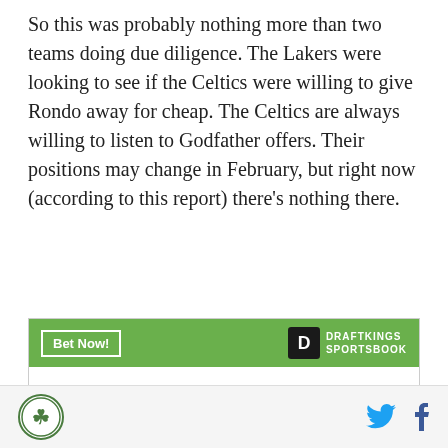So this was probably nothing more than two teams doing due diligence.  The Lakers were looking to see if the Celtics were willing to give Rondo away for cheap.  The Celtics are always willing to listen to Godfather offers.  Their positions may change in February, but right now (according to this report) there's nothing there.
[Figure (other): DraftKings Sportsbook betting widget showing Jayson Tatum To win MVP +1200]
Celtics logo | Twitter share | Facebook share